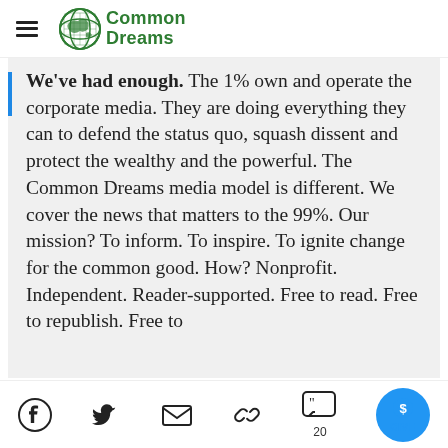Common Dreams
We've had enough. The 1% own and operate the corporate media. They are doing everything they can to defend the status quo, squash dissent and protect the wealthy and the powerful. The Common Dreams media model is different. We cover the news that matters to the 99%. Our mission? To inform. To inspire. To ignite change for the common good. How? Nonprofit. Independent. Reader-supported. Free to read. Free to republish. Free to
Facebook, Twitter, Email, Link, Comments 20, GIVE